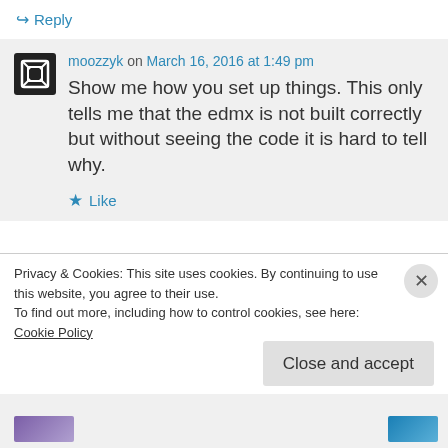↳ Reply
moozzyk on March 16, 2016 at 1:49 pm
Show me how you set up things. This only tells me that the edmx is not built correctly but without seeing the code it is hard to tell why.
★ Like
↳ Reply
Privacy & Cookies: This site uses cookies. By continuing to use this website, you agree to their use.
To find out more, including how to control cookies, see here: Cookie Policy
Close and accept